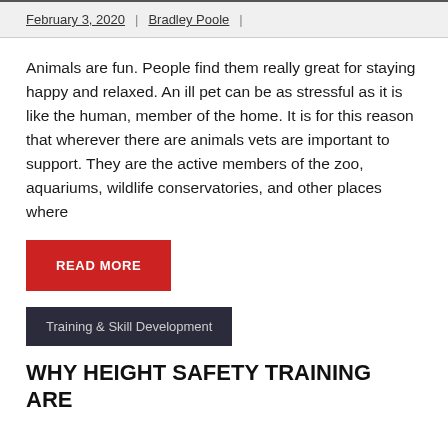February 3, 2020 | Bradley Poole |
Animals are fun. People find them really great for staying happy and relaxed. An ill pet can be as stressful as it is like the human, member of the home. It is for this reason that wherever there are animals vets are important to support. They are the active members of the zoo, aquariums, wildlife conservatories, and other places where
READ MORE
Training & Skill Development
WHY HEIGHT SAFETY TRAINING ARE